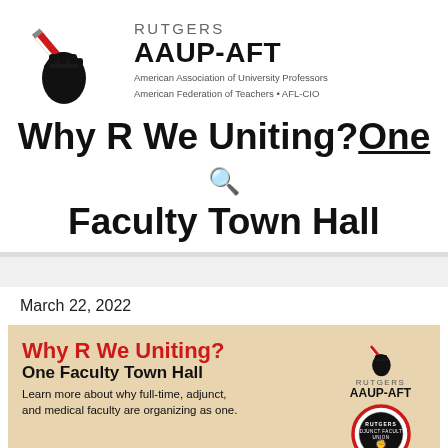[Figure (logo): Rutgers AAUP-AFT logo: fist holding pencil with organization name and affiliation text]
Why R We Uniting? One Faculty Town Hall
March 22, 2022
[Figure (infographic): Tan/beige card with red and black text reading 'Why R We Uniting? One Faculty Town Hall' with Rutgers AAUP-AFT logo and adjunct faculty union badge. Body text: Learn more about why full-time, adjunct, and medical faculty are organizing as one.]